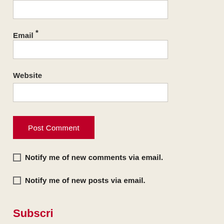[Figure (screenshot): Top portion of a text area input box (white rectangle with border), partially visible at top of page]
Email *
[Figure (screenshot): Email input field — white rectangle with border]
Website
[Figure (screenshot): Website input field — white rectangle with border]
[Figure (screenshot): Post Comment button — dark red/crimson rectangle with white text]
Notify me of new comments via email.
Notify me of new posts via email.
Subscri